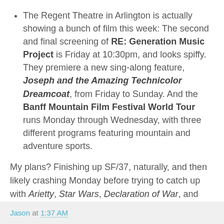The Regent Theatre in Arlington is actually showing a bunch of film this week: The second and final screening of RE: Generation Music Project is Friday at 10:30pm, and looks spiffy. They premiere a new sing-along feature, Joseph and the Amazing Technicolor Dreamcoat, from Friday to Sunday. And the Banff Mountain Film Festival World Tour runs Monday through Wednesday, with three different programs featuring mountain and adventure sports.
My plans? Finishing up SF/37, naturally, and then likely crashing Monday before trying to catch up with Arietty, Star Wars, Declaration of War, and maybe some Oscar Shorts later in the week.
Jason at 1:37 AM